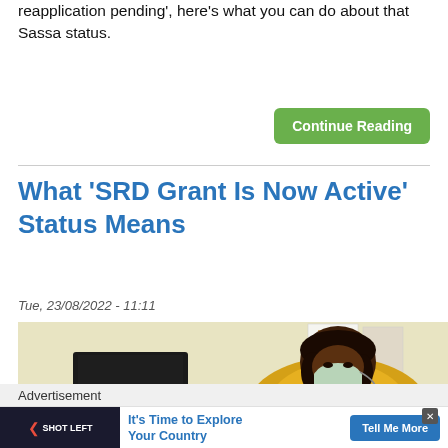reapplication pending', here's what you can do about that Sassa status.
Continue Reading
What ‘SRD Grant Is Now Active’ Status Means
Tue, 23/08/2022 - 11:11
[Figure (photo): A woman wearing a yellow jacket and face mask sits at a desk with a computer monitor. Papers and documents are visible on the wall behind her. The setting appears to be an office environment.]
Advertisement
It’s Time to Explore Your Country
Tell Me More